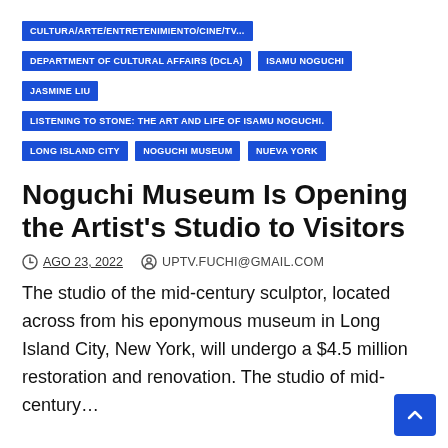CULTURA/ARTE/ENTRETENIMIENTO/CINE/TV...
DEPARTMENT OF CULTURAL AFFAIRS (DCLA)
ISAMU NOGUCHI
JASMINE LIU
LISTENING TO STONE: THE ART AND LIFE OF ISAMU NOGUCHI.
LONG ISLAND CITY
NOGUCHI MUSEUM
NUEVA YORK
Noguchi Museum Is Opening the Artist's Studio to Visitors
AGO 23, 2022   UPTV.FUCHI@GMAIL.COM
The studio of the mid-century sculptor, located across from his eponymous museum in Long Island City, New York, will undergo a $4.5 million restoration and renovation. The studio of mid-century...